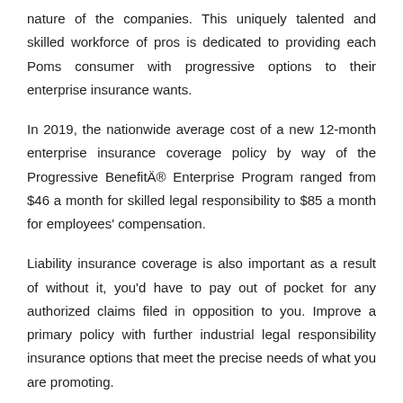nature of the companies. This uniquely talented and skilled workforce of pros is dedicated to providing each Poms consumer with progressive options to their enterprise insurance wants.
In 2019, the nationwide average cost of a new 12-month enterprise insurance coverage policy by way of the Progressive Benefit® Enterprise Program ranged from $46 a month for skilled legal responsibility to $85 a month for employees' compensation.
Liability insurance coverage is also important as a result of without it, you'd have to pay out of pocket for any authorized claims filed in opposition to you. Improve a primary policy with further industrial legal responsibility insurance options that meet the precise needs of what you are promoting.
Discover a knowledgeablean insurance coverage agent near you